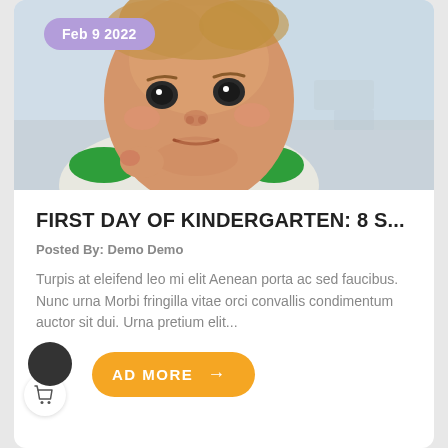[Figure (photo): Photo of a baby with a serious expression, wearing a white and green shirt, with a blurred outdoor background. A purple oval badge reads 'Feb 9 2022' in the upper left.]
FIRST DAY OF KINDERGARTEN: 8 S...
Posted By: Demo Demo
Turpis at eleifend leo mi elit Aenean porta ac sed faucibus. Nunc urna Morbi fringilla vitae orci convallis condimentum auctor sit dui. Urna pretium elit...
READ MORE →